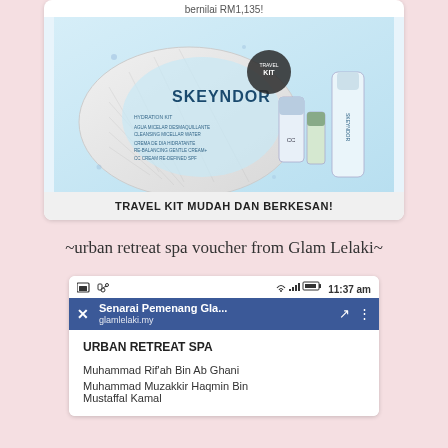bernilai RM1,135!
[Figure (photo): Skeyndor travel kit product photo showing a white quilted cosmetic bag with CC cream, micellar water, and other skincare products on a light blue background]
TRAVEL KIT MUDAH DAN BERKESAN!
~urban retreat spa voucher from Glam Lelaki~
[Figure (screenshot): Mobile phone screenshot showing a webpage from glamlelaki.my titled 'Senarai Pemenang Gla...' listing Urban Retreat Spa winners: Muhammad Rif'ah Bin Ab Ghani, Muhammad Muzakkir Haqmin Bin Mustaffal Kamal]
URBAN RETREAT SPA
Muhammad Rif'ah Bin Ab Ghani
Muhammad Muzakkir Haqmin Bin Mustaffal Kamal